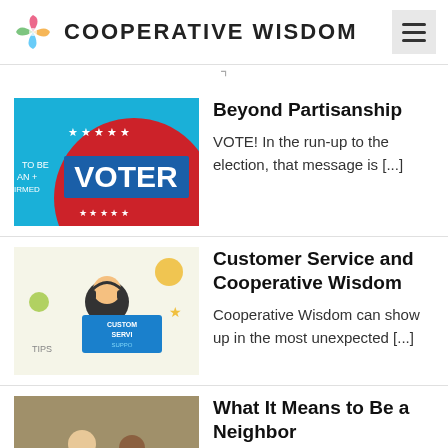COOPERATIVE WISDOM
Beyond Partisanship — VOTE! In the run-up to the election, that message is [...]
Customer Service and Cooperative Wisdom — Cooperative Wisdom can show up in the most unexpected [...]
What It Means to Be a Neighbor — Fred Rogers was ahead of his time. Fifty years ago, in [...]